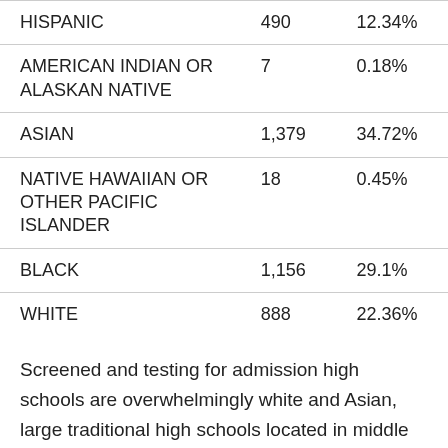| Race/Ethnicity | Count | Percentage |
| --- | --- | --- |
| HISPANIC | 490 | 12.34% |
| AMERICAN INDIAN OR ALASKAN NATIVE | 7 | 0.18% |
| ASIAN | 1,379 | 34.72% |
| NATIVE HAWAIIAN OR OTHER PACIFIC ISLANDER | 18 | 0.45% |
| BLACK | 1,156 | 29.1% |
| WHITE | 888 | 22.36% |
Screened and testing for admission high schools are overwhelmingly white and Asian, large traditional high schools located in middle class neighborhoods reflect the